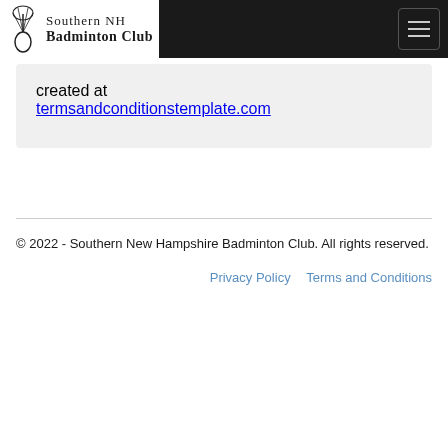[Figure (logo): Southern NH Badminton Club logo with shuttlecock icon and text]
created at
termsandconditionstemplate.com
© 2022 - Southern New Hampshire Badminton Club. All rights reserved.
Privacy Policy   Terms and Conditions